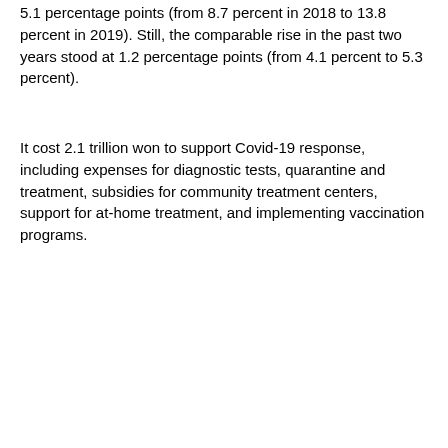5.1 percentage points (from 8.7 percent in 2018 to 13.8 percent in 2019). Still, the comparable rise in the past two years stood at 1.2 percentage points (from 4.1 percent to 5.3 percent).
It cost 2.1 trillion won to support Covid-19 response, including expenses for diagnostic tests, quarantine and treatment, subsidies for community treatment centers, support for at-home treatment, and implementing vaccination programs.